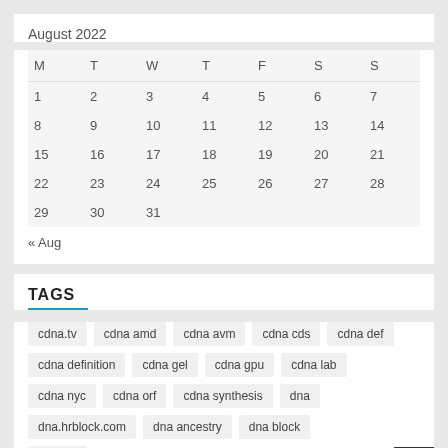August 2022
| M | T | W | T | F | S | S |
| --- | --- | --- | --- | --- | --- | --- |
| 1 | 2 | 3 | 4 | 5 | 6 | 7 |
| 8 | 9 | 10 | 11 | 12 | 13 | 14 |
| 15 | 16 | 17 | 18 | 19 | 20 | 21 |
| 22 | 23 | 24 | 25 | 26 | 27 | 28 |
| 29 | 30 | 31 |  |  |  |  |
« Aug
TAGS
cdna.tv
cdna amd
cdna avm
cdna cds
cdna def
cdna definition
cdna gel
cdna gpu
cdna lab
cdna nyc
cdna orf
cdna synthesis
dna
dna.hrblock.com
dna ancestry
dna block
dna bts